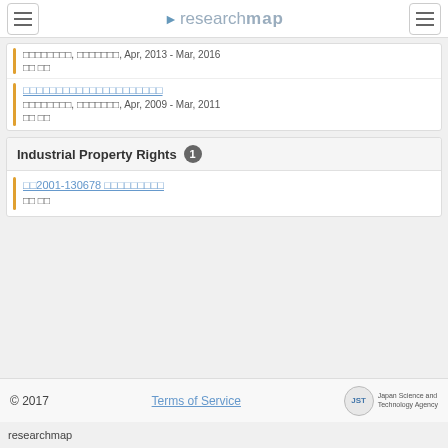researchmap
□□□□□□□□, □□□□□□□, Apr, 2013 - Mar, 2016
□□ □□
□□□□□□□□□□□□□□□□□□□□□
□□□□□□□□, □□□□□□□, Apr, 2009 - Mar, 2011
□□ □□
Industrial Property Rights 1
□□2001-130678 □□□□□□□□□
□□ □□
© 2017   Terms of Service
researchmap